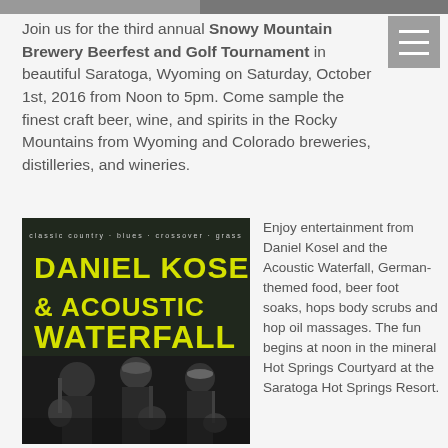[Figure (photo): Partial top image strip, dark photo at top right]
Join us for the third annual Snowy Mountain Brewery Beerfest and Golf Tournament in beautiful Saratoga, Wyoming on Saturday, October 1st, 2016 from Noon to 5pm. Come sample the finest craft beer, wine, and spirits in the Rocky Mountains from Wyoming and Colorado breweries, distilleries, and wineries.
[Figure (photo): Black and white concert poster for Daniel Kosel & Acoustic Waterfall with text 'classic country, blues, crossover, grass' and photo of musicians playing guitar]
Enjoy entertainment from Daniel Kosel and the Acoustic Waterfall, German-themed food, beer foot soaks, hops body scrubs and hop oil massages. The fun begins at noon in the mineral Hot Springs Courtyard at the Saratoga Hot Springs Resort.